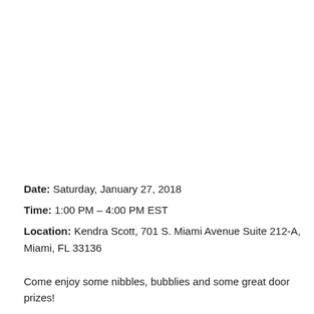Date: Saturday, January 27, 2018
Time: 1:00 PM – 4:00 PM EST
Location: Kendra Scott, 701 S. Miami Avenue Suite 212-A, Miami, FL 33136
Come enjoy some nibbles, bubblies and some great door prizes!